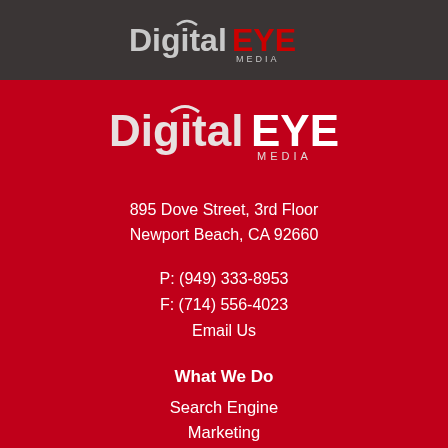[Figure (logo): DigitalEYE Media logo in header banner on dark background]
[Figure (logo): DigitalEYE Media logo large on red background]
895 Dove Street, 3rd Floor
Newport Beach, CA 92660
P: (949) 333-8953
F: (714) 556-4023
Email Us
What We Do
Search Engine Marketing
Search Engine Optimization
App Development
Social Media